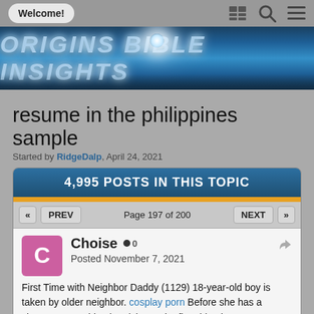Welcome!
[Figure (screenshot): Origins Bible Insights website banner with blue gradient background and glowing text]
resume in the philippines sample
Started by RidgeDalp, April 24, 2021
4,995 POSTS IN THIS TOPIC
Page 197 of 200
Choise • 0
Posted November 7, 2021
First Time with Neighbor Daddy (1129) 18-year-old boy is taken by older neighbor. cosplay porn Before she has a chance to stop him, he picks up the first thing he sees: a bottle of massage oil. bryce